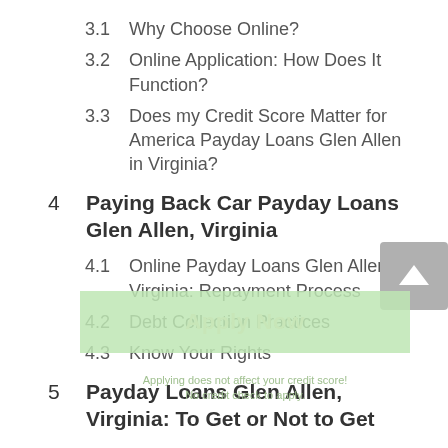3.1  Why Choose Online?
3.2  Online Application: How Does It Function?
3.3  Does my Credit Score Matter for America Payday Loans Glen Allen in Virginia?
4  Paying Back Car Payday Loans Glen Allen, Virginia
4.1  Online Payday Loans Glen Allen, Virginia: Repayment Process
4.2  Debt Collection Practices
4.3  Know Your Rights
5  Payday Loans Glen Allen, Virginia: To Get or Not to Get
5.1  Advice to Borrowers
5.2  Alternatives to Glen Allen Payday Loans